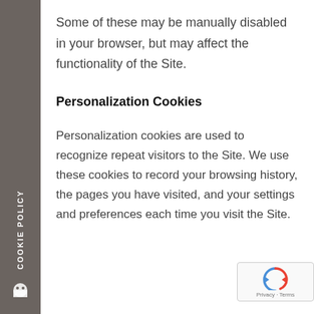Some of these may be manually disabled in your browser, but may affect the functionality of the Site.
Personalization Cookies
Personalization cookies are used to recognize repeat visitors to the Site. We use these cookies to record your browsing history, the pages you have visited, and your settings and preferences each time you visit the Site.
COOKIE POLICY